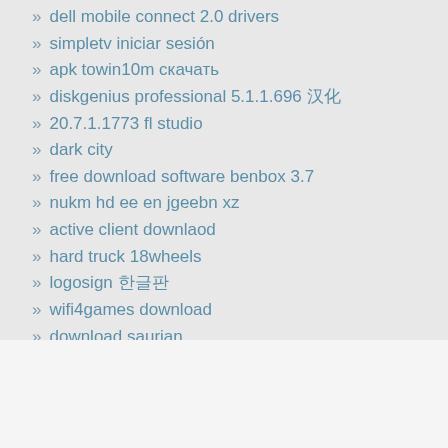» dell mobile connect 2.0 drivers
» simpletv iniciar sesión
» apk towin10m скачать
» diskgenius professional 5.1.1.696 汉化
» 20.7.1.1773 fl studio
» dark city
» free download software benbox 3.7
» nukm hd ee en jgeebn xz
» active client downlaod
» hard truck 18wheels
» logosign 한글판
» wifi4games download
» download saurian
» descargar idm full 2022
» minitab software free download